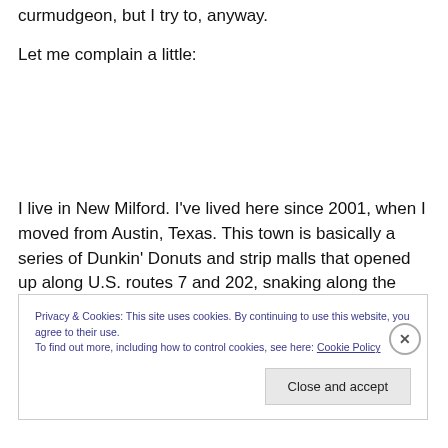curmudgeon, but I try to, anyway.
Let me complain a little:
I live in New Milford. I've lived here since 2001, when I moved from Austin, Texas. This town is basically a series of Dunkin' Donuts and strip malls that opened up along U.S. routes 7 and 202, snaking along the Housatonic.
Privacy & Cookies: This site uses cookies. By continuing to use this website, you agree to their use.
To find out more, including how to control cookies, see here: Cookie Policy
Close and accept